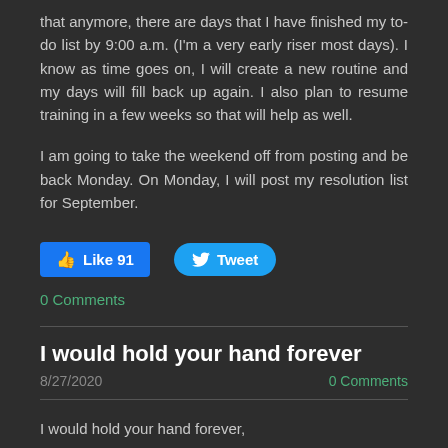that anymore, there are days that I have finished my to-do list by 9:00 a.m. (I'm a very early riser most days). I know as time goes on, I will create a new routine and my days will fill back up again. I also plan to resume training in a few weeks so that will help as well.
I am going to take the weekend off from posting and be back Monday. On Monday, I will post my resolution list for September.
[Figure (other): Facebook Like button showing 91 likes and a Tweet button]
0 Comments
I would hold your hand forever
8/27/2020
0 Comments
I would hold your hand forever,
If we could stay together,
In this moment, I would freeze time,